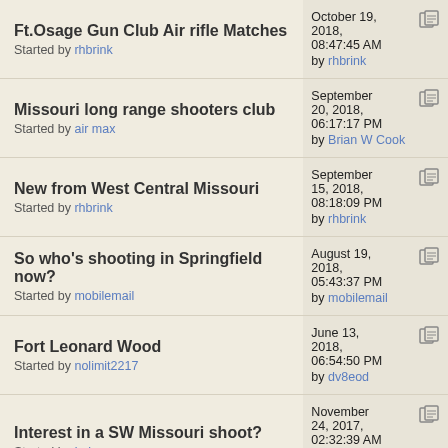Ft.Osage Gun Club Air rifle Matches
Started by rhbrink
October 19, 2018, 08:47:45 AM by rhbrink
Missouri long range shooters club
Started by air max
September 20, 2018, 06:17:17 PM by Brian W Cook
New from West Central Missouri
Started by rhbrink
September 15, 2018, 08:18:09 PM by rhbrink
So who's shooting in Springfield now?
Started by mobilemail
August 19, 2018, 05:43:37 PM by mobilemail
Fort Leonard Wood
Started by nolimit2217
June 13, 2018, 06:54:50 PM by dv8eod
Interest in a SW Missouri shoot?
Started by Lobo « 1 2 3 4 »
November 24, 2017, 02:32:39 AM by Maverick DoorGunner
Looking for Air Rifle/Pistol shoots in the St. Louis ... Jefferson County Area
Started by Eugene Pinkston
August 18, 2017, 10:55:08 PM by ...